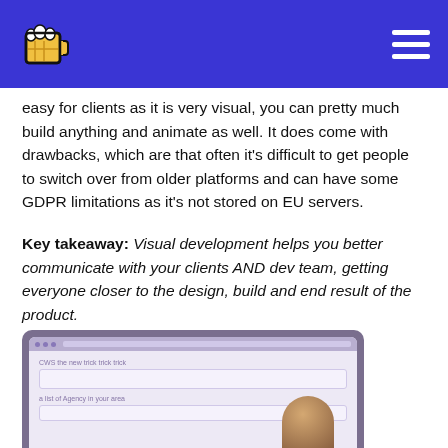[Logo: pixel art beer mug] [Hamburger menu icon]
easy for clients as it is very visual, you can pretty much build anything and animate as well. It does come with drawbacks, which are that often it's difficult to get people to switch over from older platforms and can have some GDPR limitations as it's not stored on EU servers.
Key takeaway: Visual development helps you better communicate with your clients AND dev team, getting everyone closer to the design, build and end result of the product.
[Figure (screenshot): Screenshot of a web design tool interface showing a canvas with UI elements and form fields, partially visible, with a person's head visible at the bottom right.]